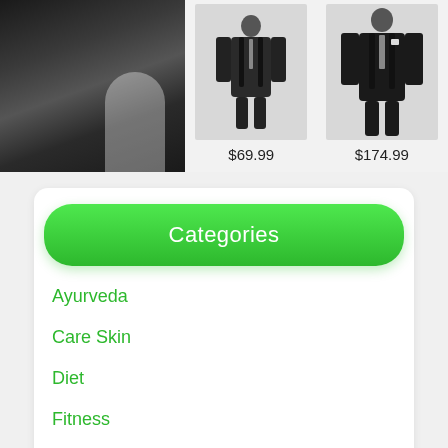[Figure (photo): Wedding photo showing a couple, man in dark suit and woman in white dress, close-up from chest down]
[Figure (photo): Product image of boy in dark suit, priced at $69.99]
$69.99
[Figure (photo): Product image of man in dark formal suit, priced at $174.99]
$174.99
Categories
Ayurveda
Care Skin
Diet
Fitness
Fruits